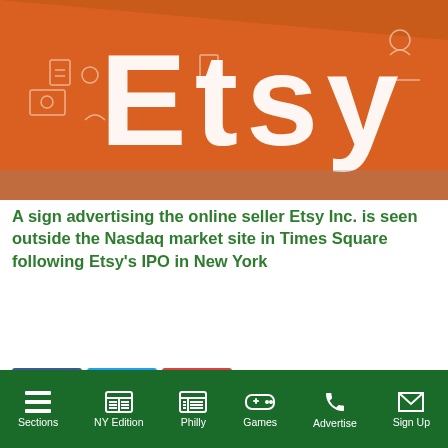[Figure (photo): Orange Etsy sign with white logo letters, seen at the Nasdaq market site in Times Square]
A sign advertising the online seller Etsy Inc. is seen outside the Nasdaq market site in Times Square following Etsy's IPO in New York
[Figure (screenshot): Video popup overlay showing 'Breaking Down the Best Fitness Tr...' with an image of fitness trackers/smartwatches against a dark background, with a mute button and close X button]
esday it would buy ale company Depop t younger shoppers ning market in
Sections  NY Edition  Philly  Games  Advertise  Sign Up